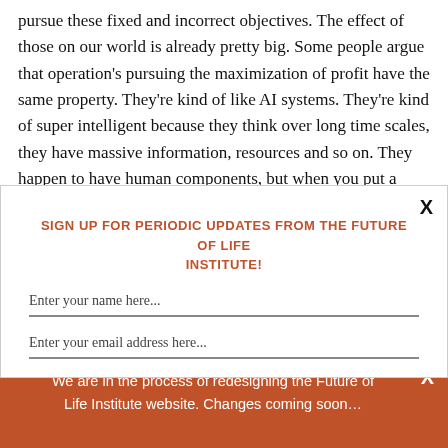pursue these fixed and incorrect objectives. The effect of those on our world is already pretty big. Some people argue that operation's pursuing the maximization of profit have the same property. They're kind of like AI systems. They're kind of super intelligent because they think over long time scales, they have massive information, resources and so on. They happen to have human components, but when you put a
[Figure (screenshot): A modal dialog box with a close X button in the top right. Title in orange bold caps: 'SIGN UP FOR PERIODIC UPDATES FROM THE FUTURE OF LIFE INSTITUTE!' followed by two text input fields: 'Enter your name here...' and 'Enter your email address here...' each underlined.]
We are in the process of redesigning the Future of Life Institute website. Changes coming soon...